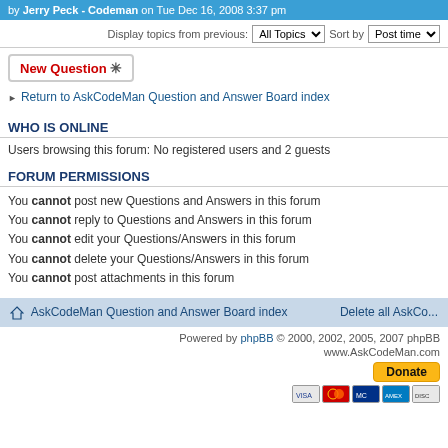by Jerry Peck - Codeman on Tue Dec 16, 2008 3:37 pm
Display topics from previous: All Topics  Sort by  Post time
New Question *
Return to AskCodeMan Question and Answer Board index
WHO IS ONLINE
Users browsing this forum: No registered users and 2 guests
FORUM PERMISSIONS
You cannot post new Questions and Answers in this forum
You cannot reply to Questions and Answers in this forum
You cannot edit your Questions/Answers in this forum
You cannot delete your Questions/Answers in this forum
You cannot post attachments in this forum
AskCodeMan Question and Answer Board index   Delete all AskCo...
Powered by phpBB © 2000, 2002, 2005, 2007 phpBB
www.AskCodeMan.com
Donate